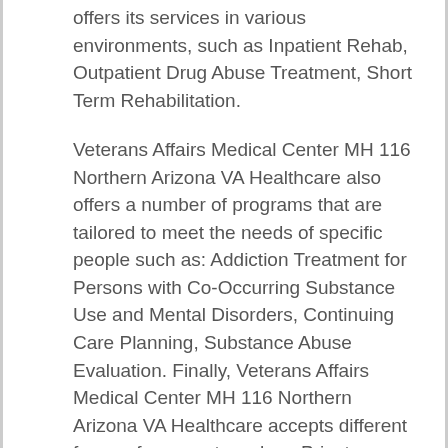offers its services in various environments, such as Inpatient Rehab, Outpatient Drug Abuse Treatment, Short Term Rehabilitation.
Veterans Affairs Medical Center MH 116 Northern Arizona VA Healthcare also offers a number of programs that are tailored to meet the needs of specific people such as: Addiction Treatment for Persons with Co-Occurring Substance Use and Mental Disorders, Continuing Care Planning, Substance Abuse Evaluation. Finally, Veterans Affairs Medical Center MH 116 Northern Arizona VA Healthcare accepts different forms of payment, such as Private Insurance Coverage , Military Insurance for Drug Rehab, Payment Sponsorship